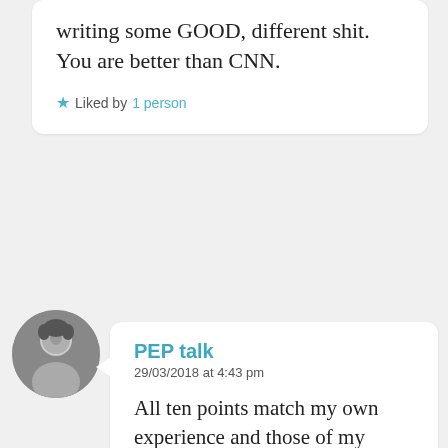writing some GOOD, different shit. You are better than CNN.
★ Liked by 1 person
PEP talk
29/03/2018 at 4:43 pm
All ten points match my own experience and those of my expat friends here in Slovakia. If I wouldn't be with my wife, I'm not sure if I would seek a new steady relationship. I have the best wife I could ever hope to find, but I abhor monogamy, which she knows of course, as she